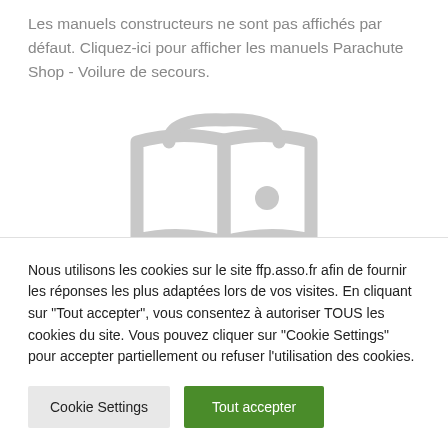Les manuels constructeurs ne sont pas affichés par défaut. Cliquez-ici pour afficher les manuels Parachute Shop - Voilure de secours.
[Figure (illustration): Gray open-book icon, partially visible, with a circular element on the right page]
Nous utilisons les cookies sur le site ffp.asso.fr afin de fournir les réponses les plus adaptées lors de vos visites. En cliquant sur "Tout accepter", vous consentez à autoriser TOUS les cookies du site. Vous pouvez cliquer sur "Cookie Settings" pour accepter partiellement ou refuser l'utilisation des cookies.
Cookie Settings | Tout accepter